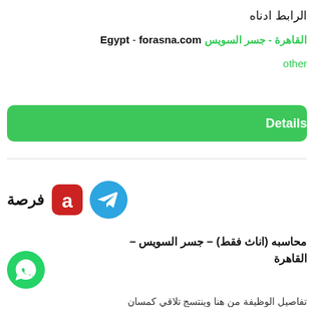الرابط ادناه
forasna.com - القاهرة - جسر السويس Egypt
other
Details
[Figure (logo): Telegram icon (blue circle with white paper plane) and Forsa app logo (red square with white 'a' letter) with Arabic text 'فرصة']
محاسبه (اناث فقط) – جسر السويس – القاهرة
تفاصيل الوظيفة من هنا وينتسج تلاقي كمسان